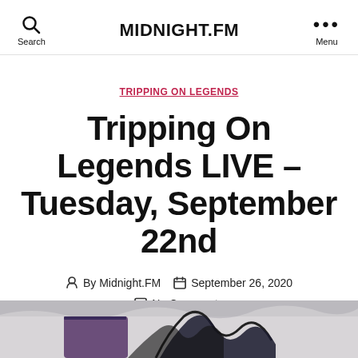MIDNIGHT.FM
TRIPPING ON LEGENDS
Tripping On Legends LIVE – Tuesday, September 22nd
By Midnight.FM  September 26, 2020  No Comments
[Figure (photo): Partial bottom image showing dark stylized artwork, partially cropped]